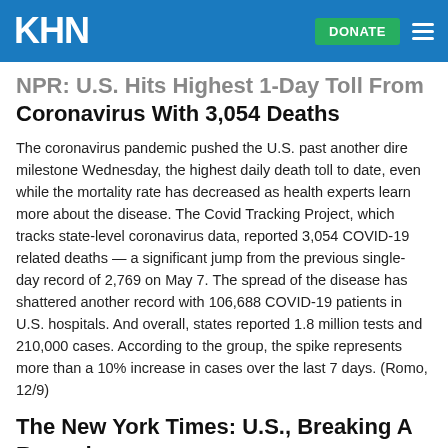KHN
NPR: U.S. Hits Highest 1-Day Toll From Coronavirus With 3,054 Deaths
The coronavirus pandemic pushed the U.S. past another dire milestone Wednesday, the highest daily death toll to date, even while the mortality rate has decreased as health experts learn more about the disease. The Covid Tracking Project, which tracks state-level coronavirus data, reported 3,054 COVID-19 related deaths — a significant jump from the previous single-day record of 2,769 on May 7. The spread of the disease has shattered another record with 106,688 COVID-19 patients in U.S. hospitals. And overall, states reported 1.8 million tests and 210,000 cases. According to the group, the spike represents more than a 10% increase in cases over the last 7 days. (Romo, 12/9)
The New York Times: U.S., Breaking A Record, Tops The 3,000 Daily Death Mark
All the while, the United States is speeding toward another stunning total: 300,000 total deaths since the coronavirus